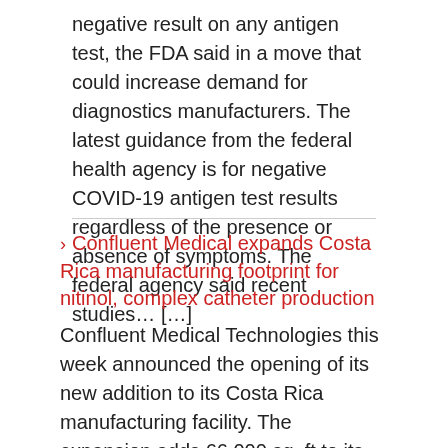negative result on any antigen test, the FDA said in a move that could increase demand for diagnostics manufacturers. The latest guidance from the federal health agency is for negative COVID-19 antigen test results regardless of the presence or absence of symptoms. The federal agency said recent studies… […]
Confluent Medical expands Costa Rica manufacturing footprint for nitinol, complex catheter production
Confluent Medical Technologies this week announced the opening of its new addition to its Costa Rica manufacturing facility. The expansion adds 66,000 sq. ft to its large-scale manufacturing center of excellence in Alajuela, Costa Rica to expand Confluent's capacity for nitinol component